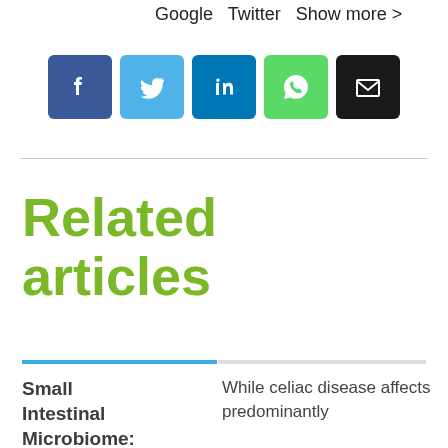Google  Twitter  Show more >
[Figure (infographic): Row of five social media share buttons: Facebook (dark blue), Twitter (light blue), LinkedIn (blue), WhatsApp (green), Email (black)]
Related articles
Small Intestinal Microbiome: An
While celiac disease affects predominantly